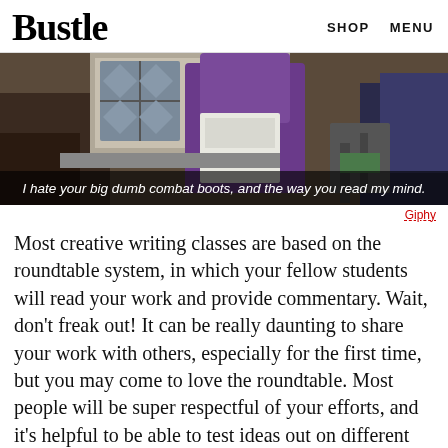Bustle   SHOP   MENU
[Figure (photo): Classroom scene with students seated at desks, subtitle text reads: I hate your big dumb combat boots, and the way you read my mind.]
Giphy
Most creative writing classes are based on the roundtable system, in which your fellow students will read your work and provide commentary. Wait, don't freak out! It can be really daunting to share your work with others, especially for the first time, but you may come to love the roundtable. Most people will be super respectful of your efforts, and it's helpful to be able to test ideas out on different readers. Plus, sometimes